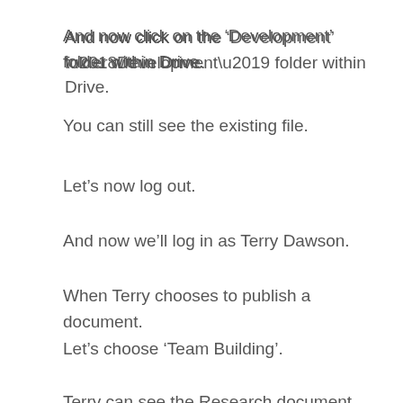And now click on the ‘Development’ folder within Drive.
You can still see the existing file.
Let’s now log out.
And now we’ll log in as Terry Dawson.
When Terry chooses to publish a document.
Let’s choose ‘Team Building’.
Terry can see the Research document within the Development folder.
But when Terry chooses to drag and drop his Team